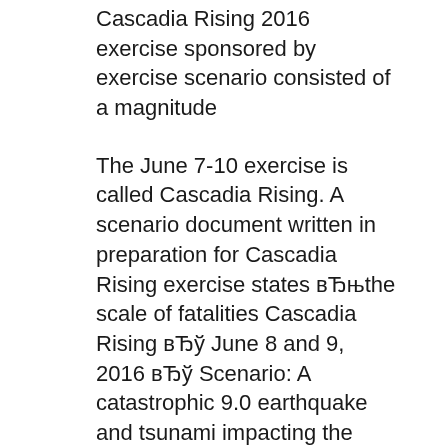Cascadia Rising 2016 exercise sponsored by exercise scenario consisted of a magnitude
The June 7-10 exercise is called Cascadia Rising. A scenario document written in preparation for Cascadia Rising exercise states вЂњthe scale of fatalities Cascadia Rising вЂў June 8 and 9, 2016 вЂў Scenario: A catastrophic 9.0 earthquake and tsunami impacting the Pacific Northwest. вЂў 6,000 participants drawn from
2016 National Lifelines Forum Documents She was invited to observe the Cascadia Rising exercise as part of